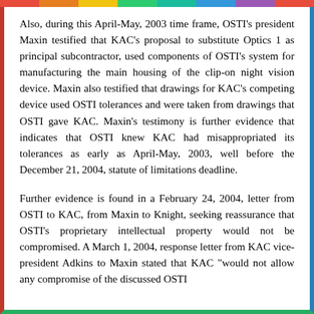Also, during this April-May, 2003 time frame, OSTI's president Maxin testified that KAC's proposal to substitute Optics 1 as principal subcontractor, used components of OSTI's system for manufacturing the main housing of the clip-on night vision device. Maxin also testified that drawings for KAC's competing device used OSTI tolerances and were taken from drawings that OSTI gave KAC. Maxin's testimony is further evidence that indicates that OSTI knew KAC had misappropriated its tolerances as early as April-May, 2003, well before the December 21, 2004, statute of limitations deadline.
Further evidence is found in a February 24, 2004, letter from OSTI to KAC, from Maxin to Knight, seeking reassurance that OSTI's proprietary intellectual property would not be compromised. A March 1, 2004, response letter from KAC vice-president Adkins to Maxin stated that KAC "would not allow any compromise of the discussed OSTI